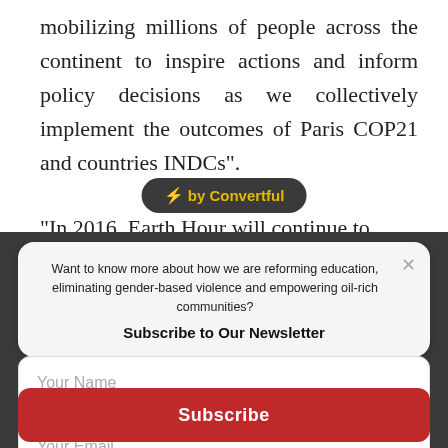mobilizing millions of people across the continent to inspire actions and inform policy decisions as we collectively implement the outcomes of Paris COP21 and countries INDCs".
[Figure (other): Convertful badge/widget button with lightning bolt icon]
“In 2016, Earth Hour will continue to
Want to know more about how we are reforming education, eliminating gender-based violence and empowering oil-rich communities?
Subscribe to Our Newsletter
Your Name
Your Email
Subscribe